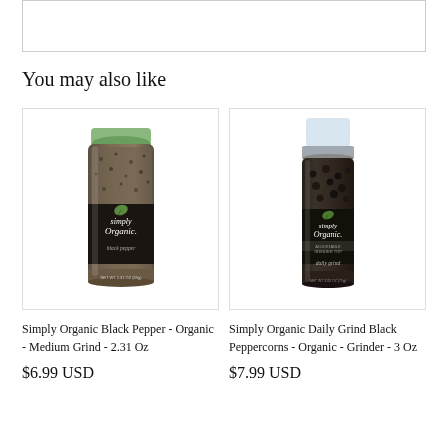[Figure (other): Top placeholder box, partially visible]
You may also like
[Figure (photo): Simply Organic Black Pepper glass jar with green lid, labeled 'simply Organic black pepper']
Simply Organic Black Pepper - Organic - Medium Grind - 2.31 Oz
$6.99 USD
[Figure (photo): Simply Organic Daily Grind Black Peppercorns glass jar with clear grinder top, labeled 'simply Organic daily grind']
Simply Organic Daily Grind Black Peppercorns - Organic - Grinder - 3 Oz
$7.99 USD